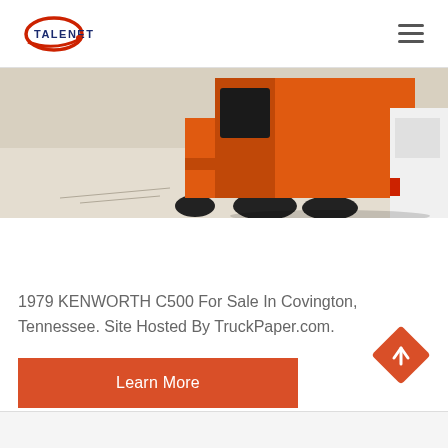[Figure (logo): Talenet logo with red ellipse and blue text]
[Figure (photo): Orange truck/forklift on a concrete surface with a white vehicle visible on the right side]
1979 KENWORTH C500 For Sale In Covington, Tennessee. Site Hosted By TruckPaper.com.
[Figure (other): Learn More button in orange/red]
[Figure (other): Back to top orange diamond-shaped arrow button]